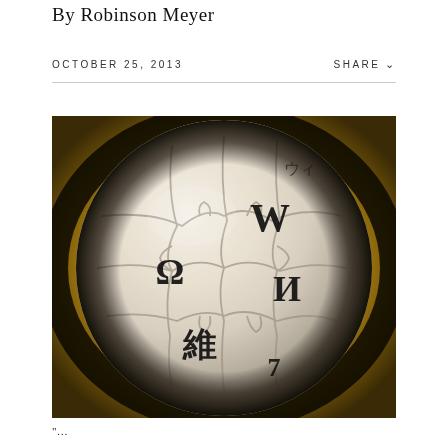By Robinson Meyer
OCTOBER 25, 2013
SHARE
[Figure (photo): Close-up photograph of the Wikipedia globe puzzle ball sculpture, showing white puzzle pieces with characters including W, Ω, И, 維, and 7 on a warm golden/amber background.]
"..."